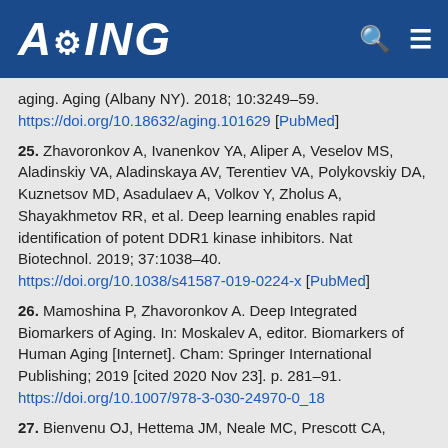AGING
aging. Aging (Albany NY). 2018; 10:3249–59. https://doi.org/10.18632/aging.101629 [PubMed]
25. Zhavoronkov A, Ivanenkov YA, Aliper A, Veselov MS, Aladinskiy VA, Aladinskaya AV, Terentiev VA, Polykovskiy DA, Kuznetsov MD, Asadulaev A, Volkov Y, Zholus A, Shayakhmetov RR, et al. Deep learning enables rapid identification of potent DDR1 kinase inhibitors. Nat Biotechnol. 2019; 37:1038–40. https://doi.org/10.1038/s41587-019-0224-x [PubMed]
26. Mamoshina P, Zhavoronkov A. Deep Integrated Biomarkers of Aging. In: Moskalev A, editor. Biomarkers of Human Aging [Internet]. Cham: Springer International Publishing; 2019 [cited 2020 Nov 23]. p. 281–91. https://doi.org/10.1007/978-3-030-24970-0_18
27. Bienvenu OJ, Hettema JM, Neale MC, Prescott CA,